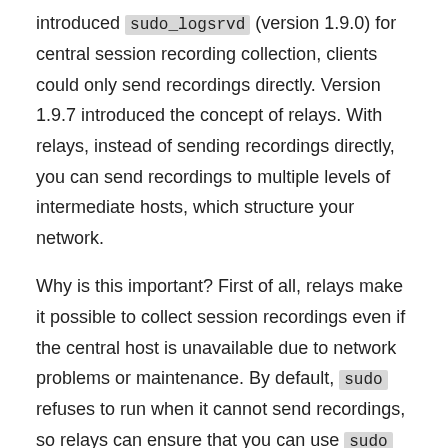introduced sudo_logsrvd (version 1.9.0) for central session recording collection, clients could only send recordings directly. Version 1.9.7 introduced the concept of relays. With relays, instead of sending recordings directly, you can send recordings to multiple levels of intermediate hosts, which structure your network.
Why is this important? First of all, relays make it possible to collect session recordings even if the central host is unavailable due to network problems or maintenance. By default, sudo refuses to run when it cannot send recordings, so relays can ensure that you can use sudo around the clock.
Secondly, it also allows you to have stricter controls on your network: Instead of opening up the firewall for all